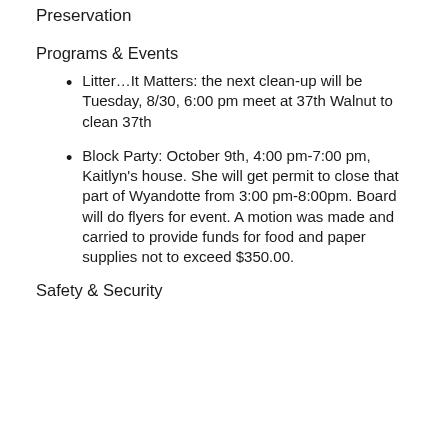Preservation
Programs & Events
Litter…It Matters: the next clean-up will be Tuesday, 8/30, 6:00 pm meet at 37th Walnut to clean 37th
Block Party: October 9th, 4:00 pm-7:00 pm, Kaitlyn's house. She will get permit to close that part of Wyandotte from 3:00 pm-8:00pm. Board will do flyers for event. A motion was made and carried to provide funds for food and paper supplies not to exceed $350.00.
Safety & Security